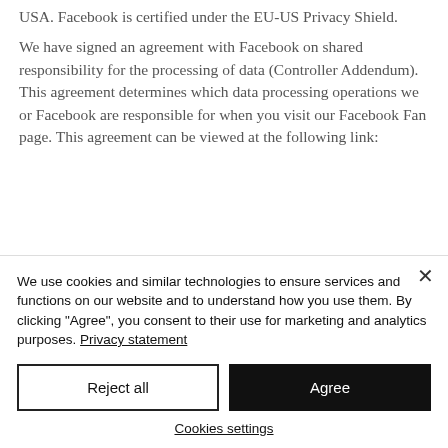USA. Facebook is certified under the EU-US Privacy Shield.
We have signed an agreement with Facebook on shared responsibility for the processing of data (Controller Addendum). This agreement determines which data processing operations we or Facebook are responsible for when you visit our Facebook Fan page. This agreement can be viewed at the following link:
We use cookies and similar technologies to ensure services and functions on our website and to understand how you use them. By clicking "Agree", you consent to their use for marketing and analytics purposes. Privacy statement
Reject all
Agree
Cookies settings